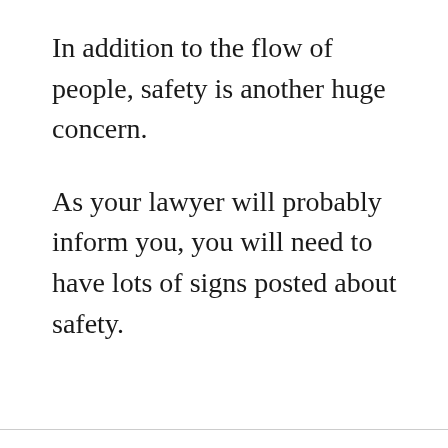In addition to the flow of people, safety is another huge concern.
As your lawyer will probably inform you, you will need to have lots of signs posted about safety.